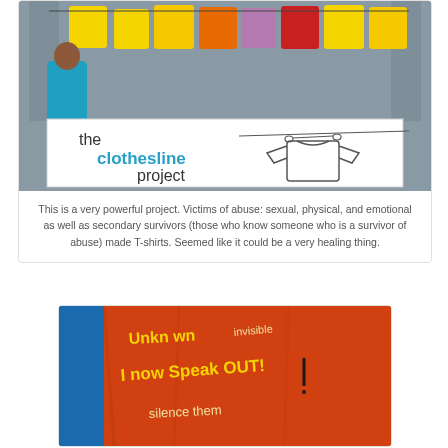[Figure (photo): Photo of The Clothesline Project display with colorful T-shirts hanging on a line outside a building. A person in a teal hoodie is visible. A large banner reads 'the clothesline project' with a sketch of a T-shirt hanging on a clothesline.]
This is a very powerful project. Victims of abuse: sexual, physical, and emotional as well as secondary survivors (those who know someone who is a survivor of abuse) made T-shirts. Seemed like it could be a very healing thing.
[Figure (photo): Close-up photo of an orange T-shirt with handwritten text including 'Unknown', 'invisible', 'I now Speak OUT!', and 'silence them' written in yellow and dark marker.]